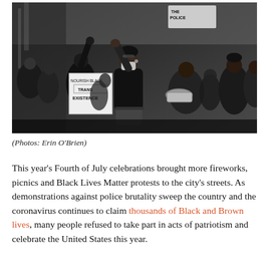[Figure (photo): Black and white photograph of a Black Lives Matter protest. A woman in a mask raises her fist in the air. Behind her is a sign reading 'NOURISH BLACK TRANS EXISTENCE'. A protester holds a drum. In the background signs read 'THE POLICE'.]
(Photos: Erin O’Brien)
This year’s Fourth of July celebrations brought more fireworks, picnics and Black Lives Matter protests to the city’s streets. As demonstrations against police brutality sweep the country and the coronavirus continues to claim thousands of Black and Brown lives, many people refused to take part in acts of patriotism and celebrate the United States this year.